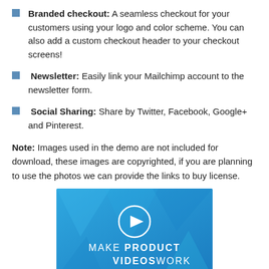Branded checkout: A seamless checkout for your customers using your logo and color scheme. You can also add a custom checkout header to your checkout screens!
Newsletter: Easily link your Mailchimp account to the newsletter form.
Social Sharing: Share by Twitter, Facebook, Google+ and Pinterest.
Note: Images used in the demo are not included for download, these images are copyrighted, if you are planning to use the photos we can provide the links to buy license.
[Figure (screenshot): Blue gradient video thumbnail with a play button circle icon and text reading MAKE PRODUCT VIDEOS WORK]